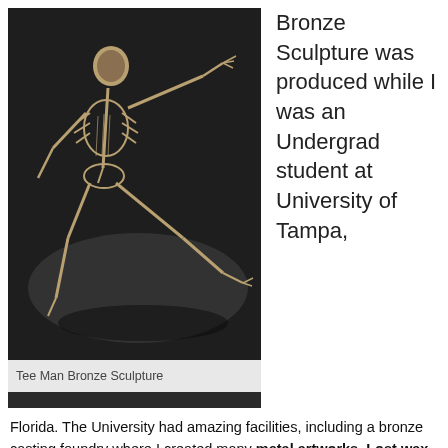[Figure (photo): Bronze sculpture of a skeletal human figure in a reclining/stretching pose, made with wooden golf tees, photographed against a dark background.]
Tee Man Bronze Sculpture
Bronze Sculpture was produced while I was an Undergrad student at University of Tampa, Florida.  The University had amazing facilities, including a bronze casting foundry where I created many metal artworks.  Lost wax technique was the method we used, which meant sculpting our piece out of wax, or material that would burn out in a kiln, in this case  wooden golf tees.  The wax and wood was then invested into plaster with air vents.  The kiln then burned out all material leaving a hollow cavity for the molten bronze to be poured in.  At the time I was very influenced by the surrealism of Salvidor Dali and used his pose from “City of Dreams” as a reference for my first bronze piece.